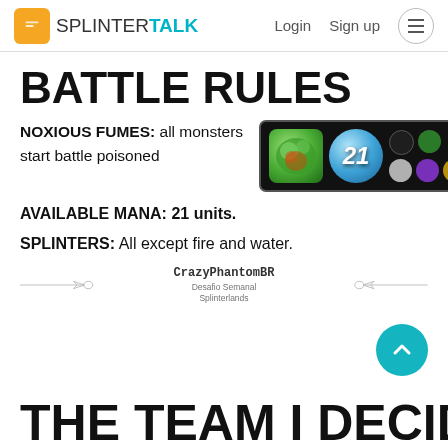SPLINTERTALK  Login  Sign up
BATTLE RULES
NOXIOUS FUMES: all monsters start battle poisoned
[Figure (screenshot): Game UI showing poison/noxious fumes icon (green), mana 21 ball (blue), and small splinter icons on black background]
AVAILABLE MANA: 21 units.
SPLINTERS: All except fire and water.
[Figure (illustration): Decorative divider with crossed swords and CrazyPhantomBR logo in the center, text: Desafio Semanal Splinterlands]
THE TEAM I DECIDED